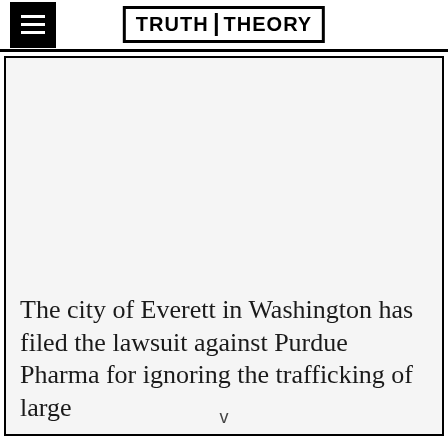TRUTH THEORY
The city of Everett in Washington has filed the lawsuit against Purdue Pharma for ignoring the trafficking of large